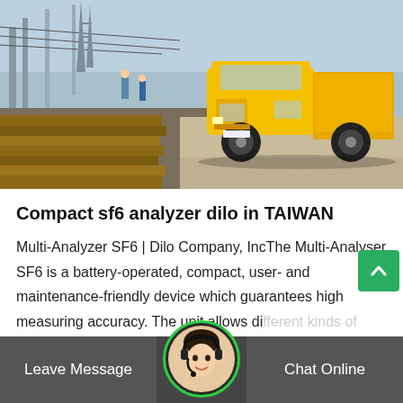[Figure (photo): Yellow ISUZU truck at a construction/electrical substation site with stacked wooden railway ties in the foreground and electrical infrastructure in the background]
Compact sf6 analyzer dilo in TAIWAN
Multi-Analyzer SF6 | Dilo Company, IncThe Multi-Analyser SF6 is a battery-operated, compact, user- and maintenance-friendly device which guarantees high measuring accuracy. The unit allows different kinds of measurements and treatment of the measured ga...
Leave Message | Chat Online